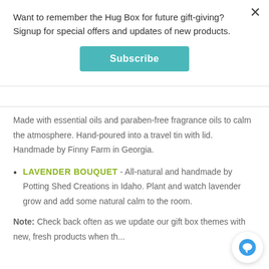Want to remember the Hug Box for future gift-giving? Signup for special offers and updates of new products.
Subscribe
Made with essential oils and paraben-free fragrance oils to calm the atmosphere. Hand-poured into a travel tin with lid. Handmade by Finny Farm in Georgia.
LAVENDER BOUQUET - All-natural and handmade by Potting Shed Creations in Idaho. Plant and watch lavender grow and add some natural calm to the room.
Note: Check back often as we update our gift box themes with new, fresh products when the...